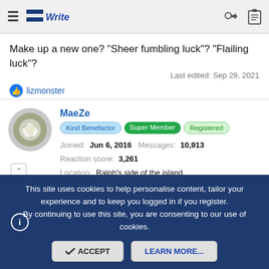≡  [BoldWrite logo]  🔑  📋
Make up a new one? "Sheer fumbling luck"? "Flailing luck"?
Last edited: Sep 29, 2021
👍 lizmonster
MaeZe
Kind Benefactor  Super Member  Registered
Joined: Jun 6, 2016  Messages: 10,913
Reaction score: 3,261
Location: Ralph's side of the island.
This site uses cookies to help personalise content, tailor your experience and to keep you logged in if you register. By continuing to use this site, you are consenting to our use of cookies.
✓ ACCEPT   LEARN MORE...